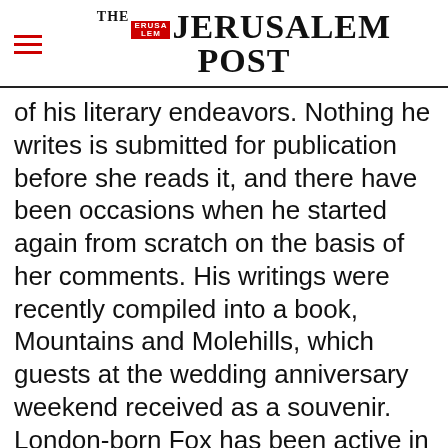THE JERUSALEM POST
of his literary endeavors. Nothing he writes is submitted for publication before she reads it, and there have been occasions when he started again from scratch on the basis of her comments. His writings were recently compiled into a book, Mountains and Molehills, which guests at the wedding anniversary weekend received as a souvenir. London-born Fox has been active in enhancing relations between the United Kingdom and Israel. His efforts in this regard were
Advertisement